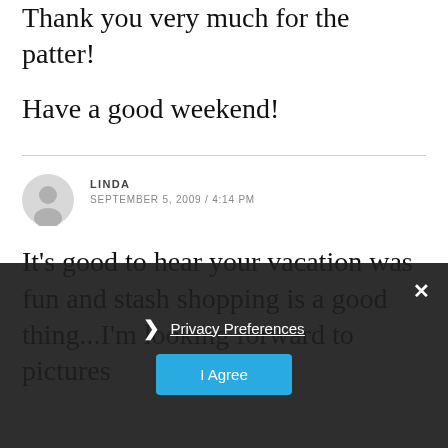Thank you very much for the patter!
Have a good weekend!
LINDA
SEPTEMBER 5, 2009 / 4:14 PM
It's good to hear your vacation was fun and stash shopping is a good thing...I'm looking forward to pictures
Privacy Preferences
I Agree